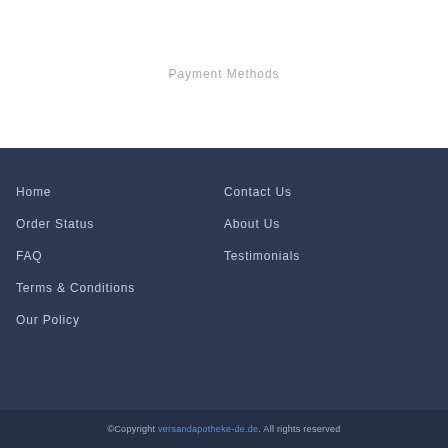Payment Methods
Home
Order Status
FAQ
Terms & Conditions
Our Policy
Contact Us
About Us
Testimonials
©Copyright versandapotheke-de.de. All rights reserved